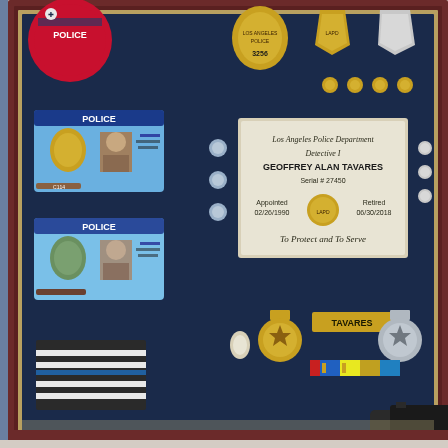[Figure (photo): A shadow box display case with a dark navy blue velvet background and dark wood frame, containing a police officer's career memorabilia. Items include: LAPD police patches (top left), multiple LAPD detective badges, a 'POLICE' ID card with photo (two versions - one color, one older), small metal pins and buttons, a thin blue line American flag patch, a nameplate reading 'TAVARES', two medals, ribbon bars, a semi-automatic handgun (lower right), handcuffs with challenge coins (lower center), a corporal chevron patch (lower left), and a silver engraved plaque reading 'Los Angeles Police Department / Detective I / GEOFFREY ALAN TAVARES / Serial # 27450 / Appointed 02/26/1990 / Retired 06/30/2018 / To Protect and To Serve'.]